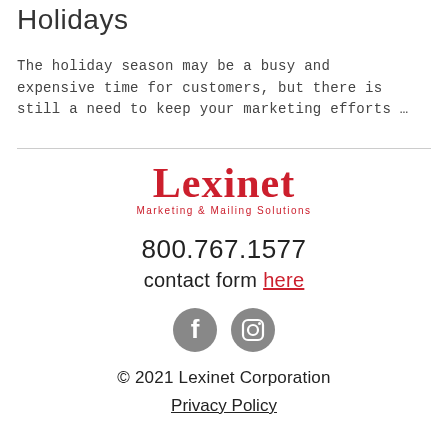Holidays
The holiday season may be a busy and expensive time for customers, but there is still a need to keep your marketing efforts …
[Figure (logo): Lexinet Marketing & Mailing Solutions logo with red text]
800.767.1577
contact form here
[Figure (illustration): Facebook and Instagram social media icons]
© 2021 Lexinet Corporation
Privacy Policy